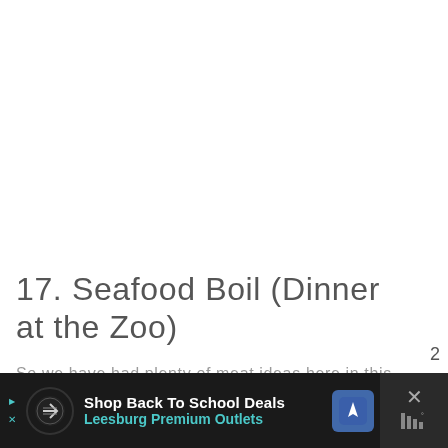17. Seafood Boil (Dinner at the Zoo)
So we have had plenty of meat ideas here in this recipes for 4th of July roundup...
[Figure (other): Teal circular heart/like button with count 2 and a share button below]
[Figure (other): Advertisement bar: Shop Back To School Deals - Leesburg Premium Outlets with logo and navigation icon]